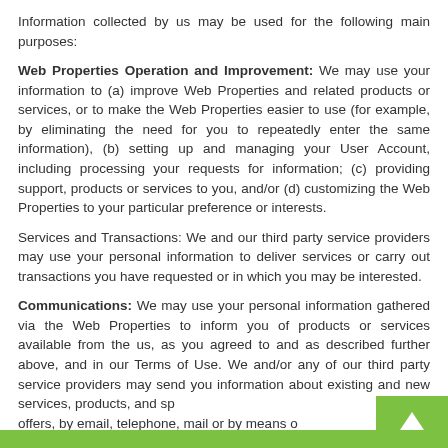Information collected by us may be used for the following main purposes:
Web Properties Operation and Improvement: We may use your information to (a) improve Web Properties and related products or services, or to make the Web Properties easier to use (for example, by eliminating the need for you to repeatedly enter the same information), (b) setting up and managing your User Account, including processing your requests for information; (c) providing support, products or services to you, and/or (d) customizing the Web Properties to your particular preference or interests.
Services and Transactions: We and our third party service providers may use your personal information to deliver services or carry out transactions you have requested or in which you may be interested.
Communications: We may use your personal information gathered via the Web Properties to inform you of products or services available from the us, as you agreed to and as described further above, and in our Terms of Use. We and/or any of our third party service providers may send you information about existing and new services, products, and special offers, by email, telephone, mail or by means of other contact details you provide us, or any affili